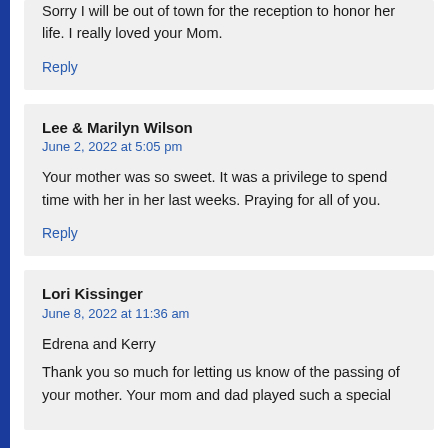Sorry I will be out of town for the reception to honor her life. I really loved your Mom.
Reply
Lee & Marilyn Wilson
June 2, 2022 at 5:05 pm
Your mother was so sweet. It was a privilege to spend time with her in her last weeks. Praying for all of you.
Reply
Lori Kissinger
June 8, 2022 at 11:36 am
Edrena and Kerry
Thank you so much for letting us know of the passing of your mother. Your mom and dad played such a special